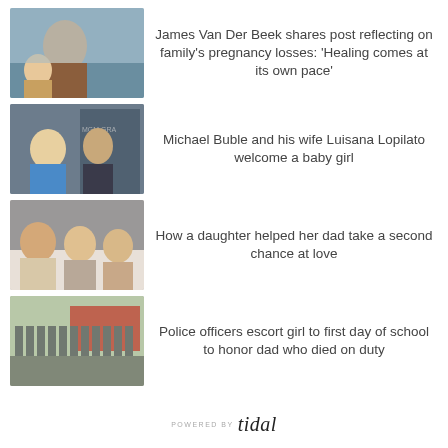[Figure (photo): Man carrying baby outdoors near water]
James Van Der Beek shares post reflecting on family's pregnancy losses: 'Healing comes at its own pace'
[Figure (photo): Smiling couple at MGM Grand event]
Michael Buble and his wife Luisana Lopilato welcome a baby girl
[Figure (photo): Three older people posing together indoors]
How a daughter helped her dad take a second chance at love
[Figure (photo): Line of police officers escorting a girl outdoors]
Police officers escort girl to first day of school to honor dad who died on duty
POWERED BY tidal